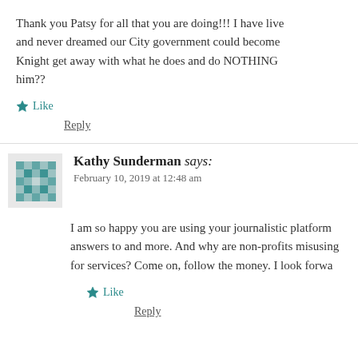Thank you Patsy for all that you are doing!!! I have lived here and never dreamed our City government could become so... Knight get away with what he does and do NOTHING about him??
Like
Reply
Kathy Sunderman says:
February 10, 2019 at 12:48 am
I am so happy you are using your journalistic platform... answers to and more. And why are non-profits misusing... for services? Come on, follow the money. I look forwa...
Like
Reply